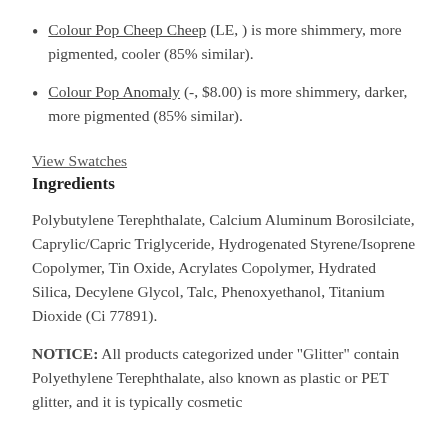Colour Pop Cheep Cheep (LE, ) is more shimmery, more pigmented, cooler (85% similar).
Colour Pop Anomaly (-, $8.00) is more shimmery, darker, more pigmented (85% similar).
View Swatches
Ingredients
Polybutylene Terephthalate, Calcium Aluminum Borosilciate, Caprylic/Capric Triglyceride, Hydrogenated Styrene/Isoprene Copolymer, Tin Oxide, Acrylates Copolymer, Hydrated Silica, Decylene Glycol, Talc, Phenoxyethanol, Titanium Dioxide (Ci 77891).
NOTICE: All products categorized under "Glitter" contain Polyethylene Terephthalate, also known as plastic or PET glitter, and it is typically cosmetic